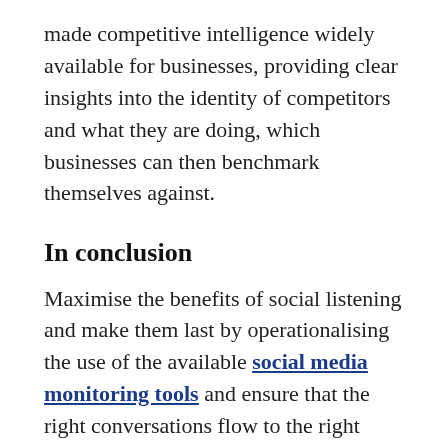made competitive intelligence widely available for businesses, providing clear insights into the identity of competitors and what they are doing, which businesses can then benchmark themselves against.
In conclusion
Maximise the benefits of social listening and make them last by operationalising the use of the available social media monitoring tools and ensure that the right conversations flow to the right stakeholders.
Make social listening an integral part of normal data gathering to glean valuable insights for business objectives, and inculcate listening as part of the organisation's culture so that employees would strive to create more meaningful 'wow' customer